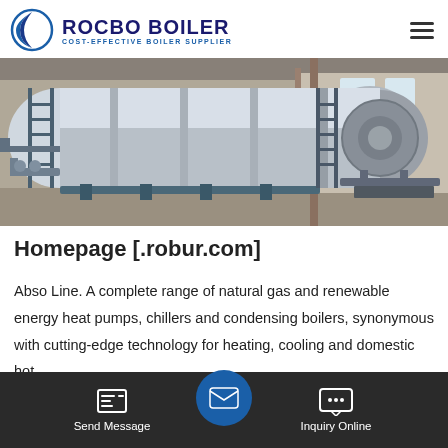ROCBO BOILER — COST-EFFECTIVE BOILER SUPPLIER
[Figure (photo): Industrial boiler installation inside a factory building. A large horizontal cylindrical boiler with metalwork, piping, ladders, and structural supports visible.]
Homepage [.robur.com]
Abso Line. A complete range of natural gas and renewable energy heat pumps, chillers and condensing boilers, synonymous with cutting-edge technology for heating, cooling and domestic hot ... s and mini...
Send Message | Inquiry Online